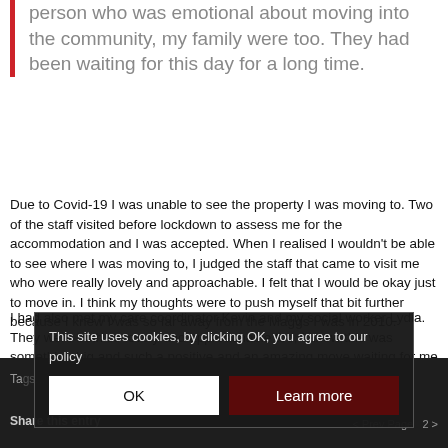person who was emotional about moving into the community, my family were too. They had been waiting for this day for a long time.
Due to Covid-19 I was unable to see the property I was moving to. Two of the staff visited before lockdown to assess me for the accommodation and I was accepted. When I realised I wouldn't be able to see where I was moving to, I judged the staff that came to visit me who were really lovely and approachable. I felt that I would be okay just to move in. I think my thoughts were to push myself that bit further because I knew I was so far away from the Maggs I was in 2010.
I had also met my care coordinator Kevin and my social worker Lydia. They were both so lovely and approachable too, I knew this was something big and such a positive and an amazing move waiting for me to grab with both hands.
Ta...   Share this entry